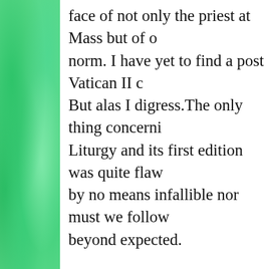face of not only the priest at Mass but of o norm. I have yet to find a post Vatican II c But alas I digress.The only thing concerni Liturgy and its first edition was quite flaw by no means infallible nor must we follow beyond expected.
This shift from the vertical nature of Cath humble embrace of humanity in the Perso and the priest who celebrates Mass. But y us, our fellow Catholics and some of our p focusing on the laity or the ordained, thos with God certainly become overwhelming prayer life and worship life focus on God are never disillusioned by the Church or a